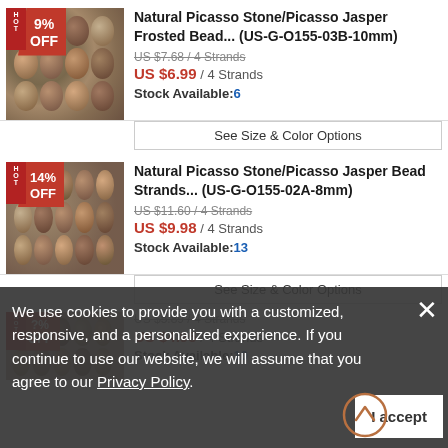[Figure (photo): Product listing 1: Natural Picasso Stone/Picasso Jasper Frosted Bead strands with 9% OFF badge and HOT label]
Natural Picasso Stone/Picasso Jasper Frosted Bead... (US-G-O155-03B-10mm)
US $7.68 / 4 Strands (strikethrough)
US $6.99 / 4 Strands
Stock Available:6
See Size & Color Options
[Figure (photo): Product listing 2: Natural Picasso Stone/Picasso Jasper Bead Strands with 14% OFF badge and HOT label]
Natural Picasso Stone/Picasso Jasper Bead Strands... (US-G-O155-02A-8mm)
US $11.60 / 4 Strands (strikethrough)
US $9.98 / 4 Strands
Stock Available:13
See Size & Color Options
We use cookies to provide you with a customized, responsive, and a personalized experience. If you continue to use our website, we will assume that you agree to our Privacy Policy.
I accept
[Figure (photo): Product listing 3 (partial): beads image with HOT/OFF badge partially visible]
US $5.89 / 4 Strands (strikethrough)
US $4.95 / 4 Strands
Stock Available:10